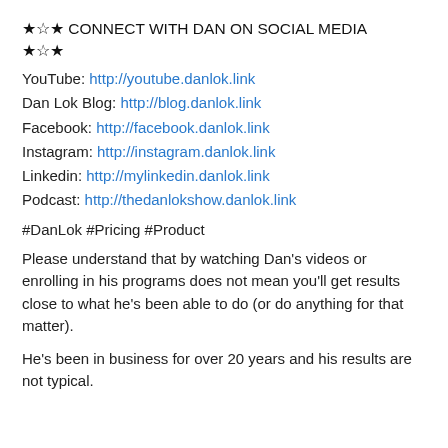★☆★ CONNECT WITH DAN ON SOCIAL MEDIA ★☆★
YouTube: http://youtube.danlok.link
Dan Lok Blog: http://blog.danlok.link
Facebook: http://facebook.danlok.link
Instagram: http://instagram.danlok.link
Linkedin: http://mylinkedin.danlok.link
Podcast: http://thedanlokshow.danlok.link
#DanLok #Pricing #Product
Please understand that by watching Dan's videos or enrolling in his programs does not mean you'll get results close to what he's been able to do (or do anything for that matter).
He's been in business for over 20 years and his results are not typical.